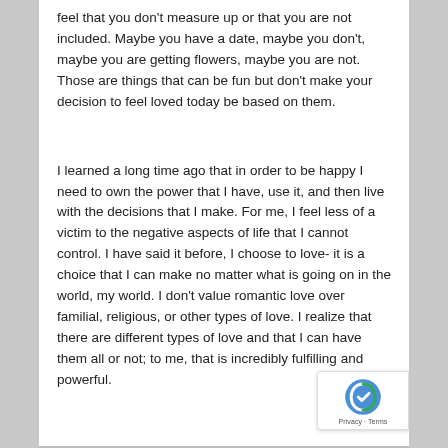feel that you don't measure up or that you are not included. Maybe you have a date, maybe you don't, maybe you are getting flowers, maybe you are not. Those are things that can be fun but don't make your decision to feel loved today be based on them.
I learned a long time ago that in order to be happy I need to own the power that I have, use it, and then live with the decisions that I make. For me, I feel less of a victim to the negative aspects of life that I cannot control. I have said it before, I choose to love- it is a choice that I can make no matter what is going on in the world, my world. I don't value romantic love over familial, religious, or other types of love. I realize that there are different types of love and that I can have them all or not; to me, that is incredibly fulfilling and powerful.